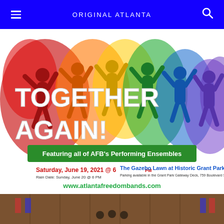ORIGINAL ATLANTA
[Figure (illustration): Event poster for 'TOGETHER AGAIN!' featuring colorful silhouettes of people with arms raised against paint splash backgrounds in red, orange, yellow, green, blue, and purple. Text reads 'TOGETHER AGAIN! Featuring all of AFB's Performing Ensembles' with a green banner. Event details: Saturday, June 19, 2021 @ 6pm, Rain Date: Sunday, June 20 @ 6 PM, The Gazebo Lawn at Historic Grant Park, Parking available in the Grant Park Gateway Deck, 759 Boulevard SE, Atlanta 30312. Website: www.atlantafreedombands.com]
[Figure (photo): Interior photo of a large wood-paneled hall with people gathered, partially visible at the bottom of the page.]